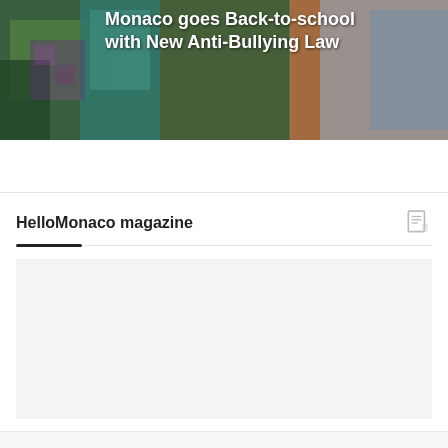[Figure (photo): Hero image showing children/students in colorful clothing, partially obscured, with headline text overlay. Background appears to be a school-related scene with green, orange, and blue tones.]
Monaco goes Back-to-school with New Anti-Bullying Law
HelloMonaco magazine
[Figure (map): HelloMonaco magazine distribution map — blank/loading area shown as light grey rectangle]
HelloMonaco magazine distribution map